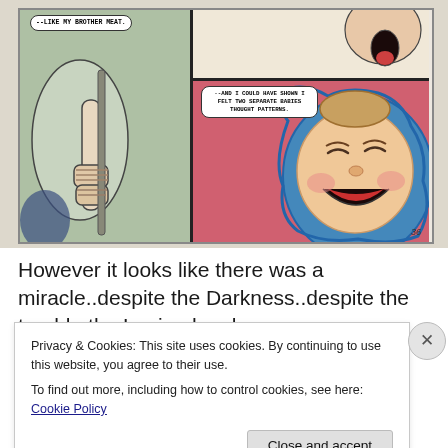[Figure (illustration): Comic book panel showing two scenes: left panel with hands gripping a staff/pole with a speech bubble reading '--LIKE MY BROTHER MEAT.', upper right panel showing partial figure with open mouth, lower right panel with a laughing baby/child face wearing a blue hood on a pink/red background with speech bubble reading '--AND I COULD HAVE SHOWN I FELT TWO SEPARATE BABIES THOUGHT PATTERNS.' Page number 36 in lower right corner.]
However it looks like there was a miracle..despite the Darkness..despite the trouble the Legion has been
Privacy & Cookies: This site uses cookies. By continuing to use this website, you agree to their use.
To find out more, including how to control cookies, see here: Cookie Policy
Close and accept